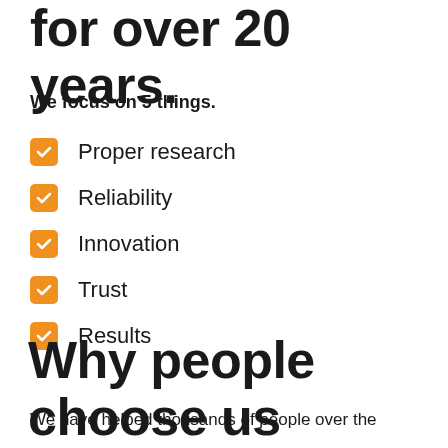for over 20 years.
We focus on 5 things.
Proper research
Reliability
Innovation
Trust
Results
Why people choose us
We have helped thousands of people over the